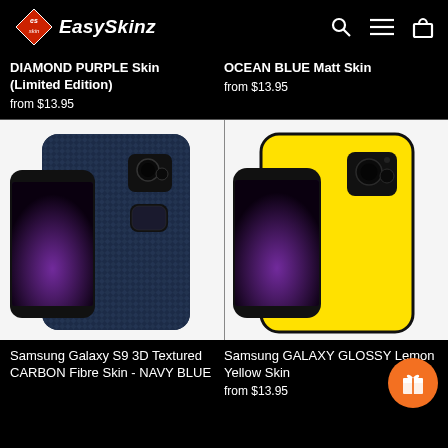EasySkinz
DIAMOND PURPLE Skin (Limited Edition)
from $13.95
OCEAN BLUE Matt Skin
from $13.95
[Figure (photo): Samsung Galaxy S9 with 3D textured carbon fibre skin in navy blue]
[Figure (photo): Samsung Galaxy S9 with glossy lemon yellow skin]
Samsung Galaxy S9 3D Textured CARBON Fibre Skin - NAVY BLUE
Samsung GALAXY GLOSSY Lemon Yellow Skin
from $13.95